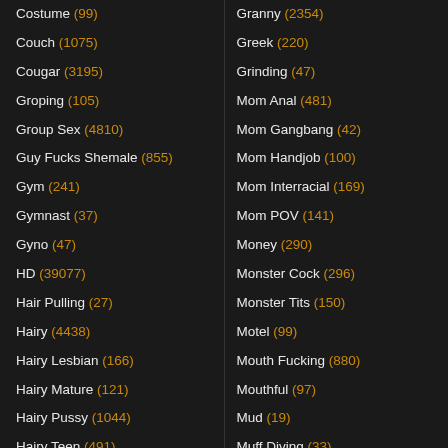Costume (99)
Couch (1075)
Cougar (3195)
Groping (105)
Group Sex (4810)
Guy Fucks Shemale (855)
Gym (241)
Gymnast (37)
Gyno (47)
HD (39077)
Hair Pulling (27)
Hairy (4438)
Hairy Lesbian (166)
Hairy Mature (121)
Hairy Pussy (1044)
Hairy Teen (491)
Granny (2354)
Greek (220)
Grinding (47)
Mom Anal (481)
Mom Gangbang (42)
Mom Handjob (100)
Mom Interracial (169)
Mom POV (141)
Money (290)
Monster Cock (296)
Monster Tits (150)
Motel (99)
Mouth Fucking (880)
Mouthful (97)
Mud (19)
Muff Diving (33)